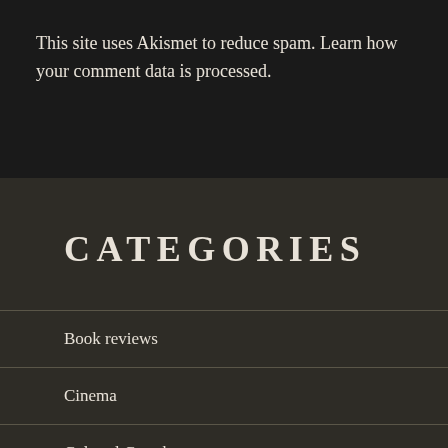This site uses Akismet to reduce spam. Learn how your comment data is processed.
CATEGORIES
Book reviews
Cinema
Cultural Crumbs